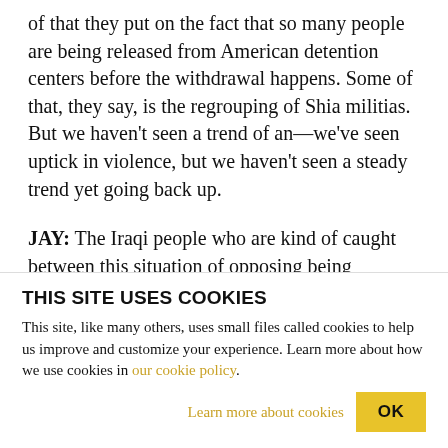of that they put on the fact that so many people are being released from American detention centers before the withdrawal happens. Some of that, they say, is the regrouping of Shia militias. But we haven't seen a trend of an—we've seen uptick in violence, but we haven't seen a steady trend yet going back up.
JAY: The Iraqi people who are kind of caught between this situation of opposing being occupied by a foreign power and very concerned how their own various elites are going to fight each other over
THIS SITE USES COOKIES
This site, like many others, uses small files called cookies to help us improve and customize your experience. Learn more about how we use cookies in our cookie policy.
Learn more about cookies   OK